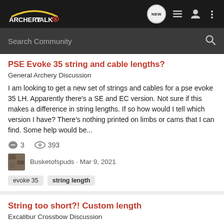ArcheryTalk | NEW | Navigation icons
Search Community
PSE Evoke 35 string and cable lengths?
General Archery Discussion
I am looking to get a new set of strings and cables for a pse evoke 35 LH. Apparently there's a SE and EC version. Not sure if this makes a difference in string lengths. If so how would I tell which version I have? There's nothing printed on limbs or cams that I can find. Some help would be...
3 replies · 393 views
Busketofspuds · Mar 9, 2021
evoke 35  string length
String too short?! Custom length
Excalibur Crossbow Discussion